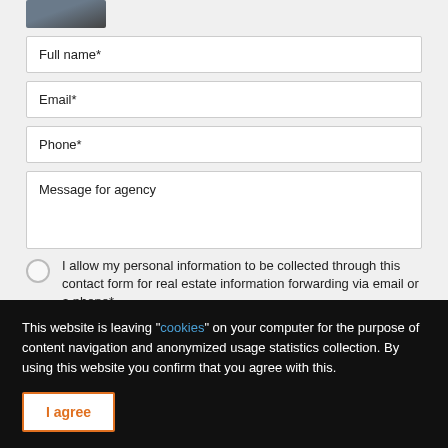[Figure (photo): Partial photo of a person (cropped, top portion visible)]
Full name*
Email*
Phone*
Message for agency
I allow my personal information to be collected through this contact form for real estate information forwarding via email or a phone*
This website is leaving "cookies" on your computer for the purpose of content navigation and anonymized usage statistics collection. By using this website you confirm that you agree with this.
I agree